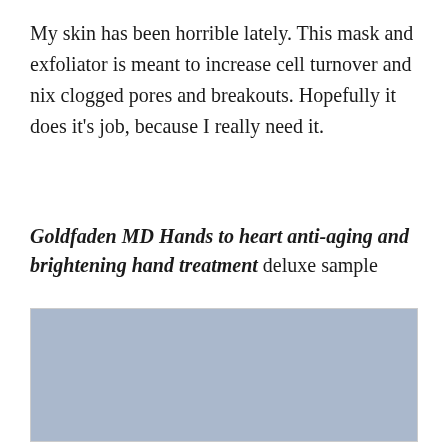My skin has been horrible lately. This mask and exfoliator is meant to increase cell turnover and nix clogged pores and breakouts. Hopefully it does it's job, because I really need it.
Goldfaden MD Hands to heart anti-aging and brightening hand treatment deluxe sample
[Figure (photo): Close-up photo showing a hand treatment product packet on a blue-grey textured surface with gold and dark olive brown patches visible]